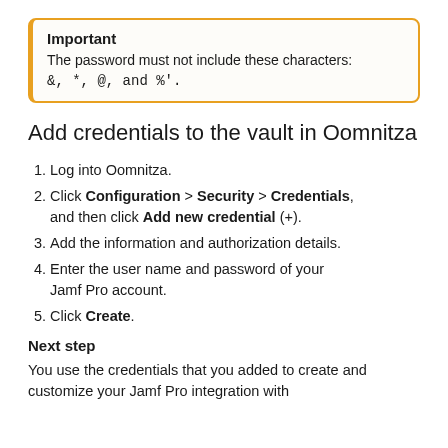Important
The password must not include these characters:
&, *, @, and %'.
Add credentials to the vault in Oomnitza
1. Log into Oomnitza.
2. Click Configuration > Security > Credentials, and then click Add new credential (+).
3. Add the information and authorization details.
4. Enter the user name and password of your Jamf Pro account.
5. Click Create.
Next step
You use the credentials that you added to create and customize your Jamf Pro integration with